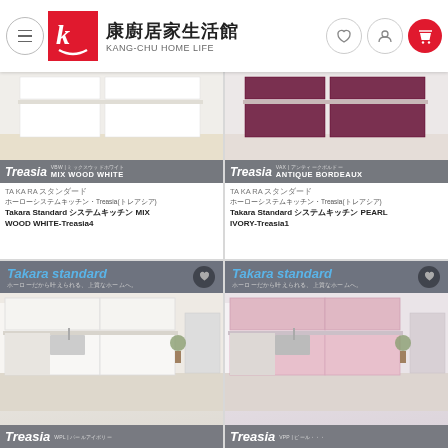康廚居家生活館 KANG-CHU HOME LIFE
[Figure (photo): Treasia MIX WOOD WHITE kitchen product photo with grey banner]
TA KA RA  □□
□□□□□□□□□□□□□□□□□□□□□□Treasia□□□
Takara Standard□□□□□□□□MIX WOOD WHITE-Treasia4
[Figure (photo): Treasia ANTIQUE BORDEAUX kitchen product photo with grey banner]
TA KA RA  □□
□□□□□□□□□□□□□□□□□□□□□□Treasia□□□
Takara Standard□□□□□□□□PEARL IVORY-Treasia1
[Figure (photo): Takara standard kitchen product photo with VPI color banner at bottom showing Treasia]
[Figure (photo): Takara standard kitchen product photo with VPP color banner at bottom showing Treasia]